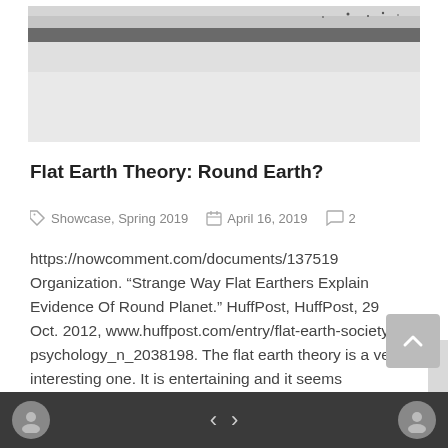[Figure (photo): Black and white aerial or horizon photograph showing a flat landscape or water surface with a dark line near the top (horizon/shoreline), light sky above and pale ground/water below.]
Flat Earth Theory: Round Earth?
Showcase, Spring 2019   April 16, 2019   2
https://nowcomment.com/documents/137519 Organization. “Strange Way Flat Earthers Explain Evidence Of Round Planet.” HuffPost, HuffPost, 29 Oct. 2012, www.huffpost.com/entry/flat-earth-society-psychology_n_2038198. The flat earth theory is a very interesting one. It is entertaining and it seems completely impossible. There are lots of “proofs”…